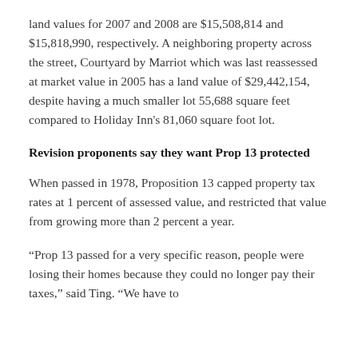land values for 2007 and 2008 are $15,508,814 and $15,818,990, respectively. A neighboring property across the street, Courtyard by Marriot which was last reassessed at market value in 2005 has a land value of $29,442,154, despite having a much smaller lot 55,688 square feet compared to Holiday Inn's 81,060 square foot lot.
Revision proponents say they want Prop 13 protected
When passed in 1978, Proposition 13 capped property tax rates at 1 percent of assessed value, and restricted that value from growing more than 2 percent a year.
“Prop 13 passed for a very specific reason, people were losing their homes because they could no longer pay their taxes,” said Ting. “We have to